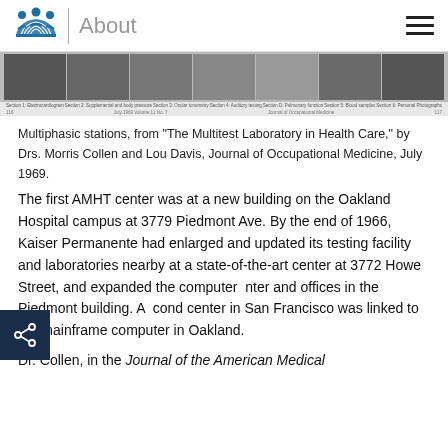About
[Figure (photo): Strip of black-and-white photographs showing multiphasic station scenes from a journal, with captions and page numbers below]
Multiphasic stations, from "The Multitest Laboratory in Health Care," by Drs. Morris Collen and Lou Davis, Journal of Occupational Medicine, July 1969.
The first AMHT center was at a new building on the Oakland Hospital campus at 3779 Piedmont Ave. By the end of 1966, Kaiser Permanente had enlarged and updated its testing facility and laboratories nearby at a state-of-the-art center at 3772 Howe Street, and expanded the computer center and offices in the Piedmont building. A second center in San Francisco was linked to the mainframe computer in Oakland.
Dr. Collen, in the Journal of the American Medical